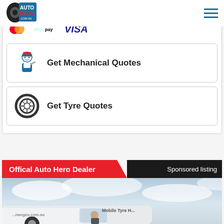Auto Hero .com.au
[Figure (logo): Auto Hero logo with tire graphic and text AUTO HERO .com.au]
[Figure (infographic): Payment logos: Mastercard, Afterpay, VISA]
Get Mechanical Quotes
Get Tyre Quotes
Offical Auto Hero Dealer
Sponsored listing
[Figure (photo): Photo of a white van with Mobile Tyre text and a person sitting in it, blue sky background]